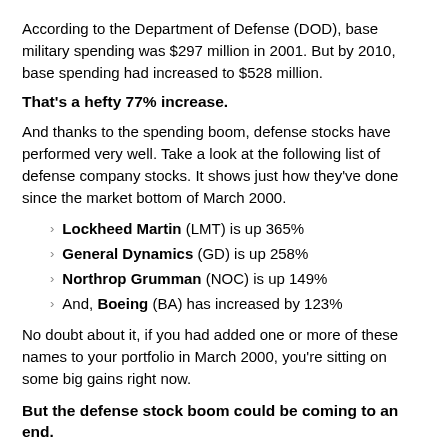According to the Department of Defense (DOD), base military spending was $297 million in 2001.  But by 2010, base spending had increased to $528 million.
That's a hefty 77% increase.
And thanks to the spending boom, defense stocks have performed very well.  Take a look at the following list of defense company stocks.  It shows just how they've done since the market bottom of March 2000.
Lockheed Martin (LMT) is up 365%
General Dynamics (GD) is up 258%
Northrop Grumman (NOC) is up 149%
And, Boeing (BA) has increased by 123%
No doubt about it, if you had added one or more of these names to your portfolio in March 2000, you're sitting on some big gains right now.
But the defense stock boom could be coming to an end.
Last week, Defense Secretary Leon Panetta announced sweeping cuts in defense spending for fiscal 2013.  He's asking for cuts totaling $60 billion over the next...